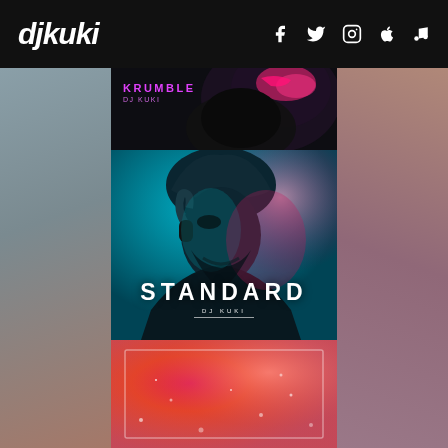djkuki — navigation bar with logo and social icons: Facebook, Twitter, Instagram, Apple, Music
[Figure (photo): Album cover for KRUMBLE by DJ KUKI — dark stylized photo with pink/magenta accents, partially cropped at top]
[Figure (photo): Album cover for STANDARD by DJ KUKI — stylized photo of a turbaned man with headphones, teal and pink color grading, text 'STANDARD' and 'DJ KUKI' centered at bottom]
[Figure (photo): Third album cover partially visible — pink/red nebula-like abstract background with rectangular border outline]